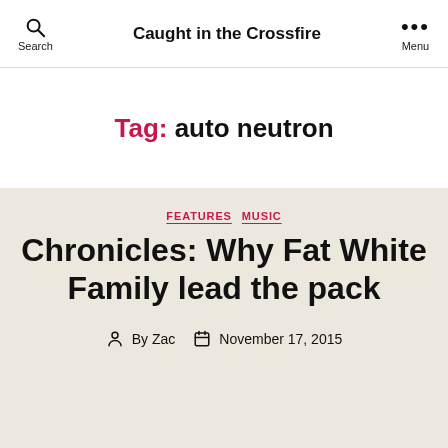Caught in the Crossfire
Tag: auto neutron
FEATURES  MUSIC
Chronicles: Why Fat White Family lead the pack
By Zac  November 17, 2015